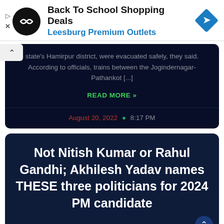[Figure (logo): Ad banner with circular black logo, 'Back To School Shopping Deals' title, 'Leesburg Premium Outlets' subtitle in blue, and a blue diamond navigation icon on the right]
state's Hamirpur district, were evacuated safely, they said. According to officials, trains between the Jogindernagar-Pathankot [...]
READ MORE »
August 20, 2022 • 8:17 PM
Not Nitish Kumar or Rahul Gandhi; Akhilesh Yadav names THESE three politicians for 2024 PM candidate